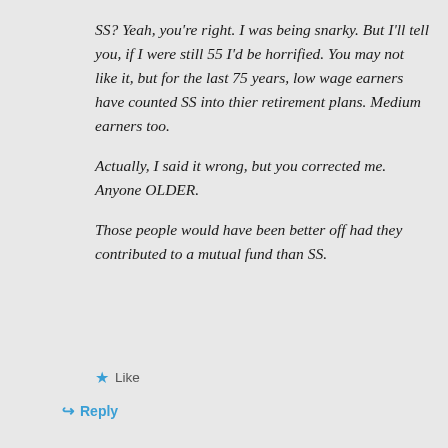SS? Yeah, you're right. I was being snarky. But I'll tell you, if I were still 55 I'd be horrified. You may not like it, but for the last 75 years, low wage earners have counted SS into thier retirement plans. Medium earners too.
Actually, I said it wrong, but you corrected me. Anyone OLDER.
Those people would have been better off had they contributed to a mutual fund than SS.
★ Like
↳ Reply